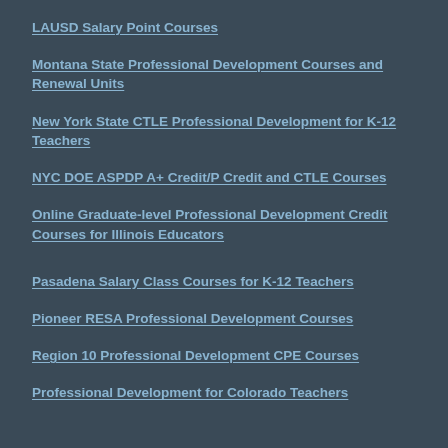LAUSD Salary Point Courses
Montana State Professional Development Courses and Renewal Units
New York State CTLE Professional Development for K-12 Teachers
NYC DOE ASPDP A+ Credit/P Credit and CTLE Courses
Online Graduate-level Professional Development Credit Courses for Illinois Educators
Pasadena Salary Class Courses for K-12 Teachers
Pioneer RESA Professional Development Courses
Region 10 Professional Development CPE Courses
Professional Development for Colorado Teachers